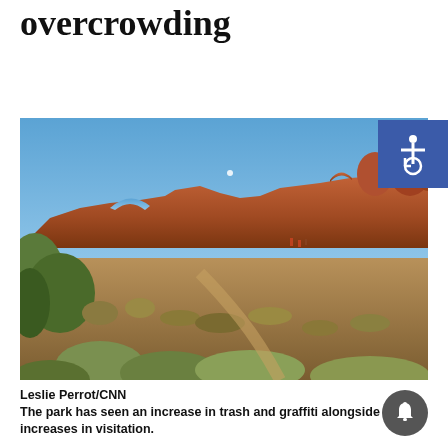overcrowding
[Figure (photo): Desert landscape with red rock formations (arches and buttes) in the background under a clear blue sky, with desert scrub vegetation and sagebrush in the foreground. A small arch is visible in the red rock ridge. A few tiny human figures are visible near the base of the formations.]
Leslie Perrot/CNN
The park has seen an increase in trash and graffiti alongside increases in visitation.